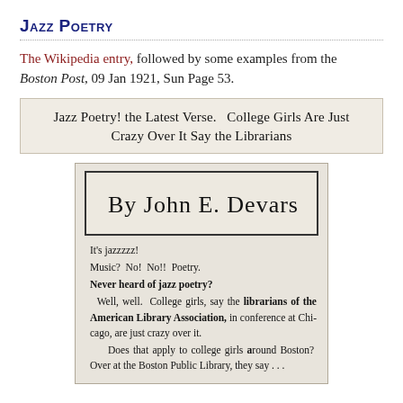Jazz Poetry
The Wikipedia entry, followed by some examples from the Boston Post, 09 Jan 1921, Sun Page 53.
[Figure (screenshot): Newspaper headline clipping reading: Jazz Poetry! the Latest Verse. College Girls Are Just Crazy Over It Say the Librarians]
[Figure (photo): Scanned newspaper article image showing handwritten byline 'By John E. Devars' in a bordered box, followed by typeset text: It's jazzzzz! Music? No! No!! Poetry. Never heard of jazz poetry? Well, well. College girls, say the librarians of the American Library Association, in conference at Chicago, are just crazy over it. Does that apply to college girls around Boston? Over at the Boston Public Library, they say . . .]